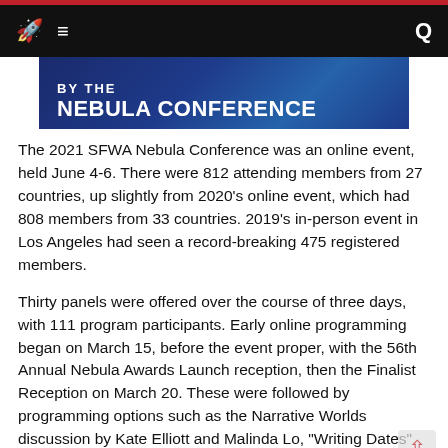Navigation bar with rocket logo, hamburger menu, and search icon
[Figure (illustration): Banner image with dark blue background showing 'BY THE NEBULA CONFERENCE' text in white bold letters]
The 2021 SFWA Nebula Conference was an online event, held June 4-6. There were 812 attending members from 27 countries, up slightly from 2020’s online event, which had 808 members from 33 countries. 2019’s in-person event in Los Angeles had seen a record-breaking 475 registered members.
Thirty panels were offered over the course of three days, with 111 program participants. Early online programming began on March 15, before the event proper, with the 56th Annual Nebula Awards Launch reception, then the Finalist Reception on March 20. These were followed by programming options such as the Narrative Worlds discussion by Kate Elliott and Malinda Lo, “Writing Dates” with notable authors such as